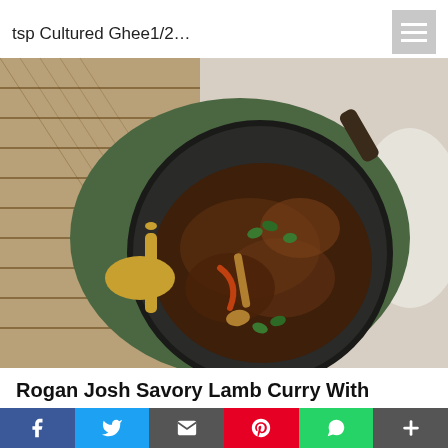tsp Cultured Ghee1/2...
[Figure (photo): Overhead view of a cast iron skillet containing Rogan Josh lamb curry garnished with fresh cilantro, placed on a green plate with a gold spoon, on a bamboo mat, with a white cloth napkin visible at the right edge.]
Rogan Josh Savory Lamb Curry With
f  Twitter  Email  Pinterest  WhatsApp  +